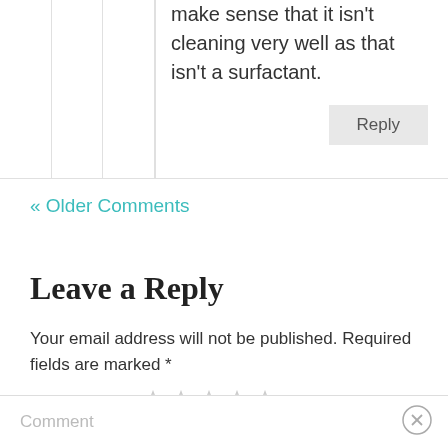make sense that it isn't cleaning very well as that isn't a surfactant.
Reply
« Older Comments
Leave a Reply
Your email address will not be published. Required fields are marked *
Recipe Rating ☆☆☆☆☆
Comment